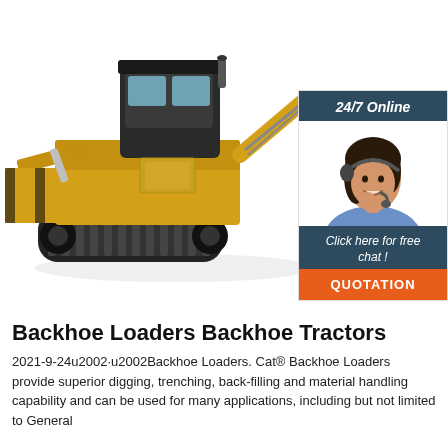[Figure (photo): Yellow backhoe loader / backhoe tractor construction machine on white background, viewed from the side-front angle showing tracks, cab, front blade and rear backhoe arm]
[Figure (infographic): 24/7 Online chat widget showing a female customer service agent wearing a headset and smiling, with dark blue header reading '24/7 Online', dark blue footer reading 'Click here for free chat !', and an orange button reading 'QUOTATION']
Backhoe Loaders Backhoe Tractors
2021-9-24u2002·u2002Backhoe Loaders. Cat® Backhoe Loaders provide superior digging, trenching, back-filling and material handling capability and can be used for many applications, including but not limited to General